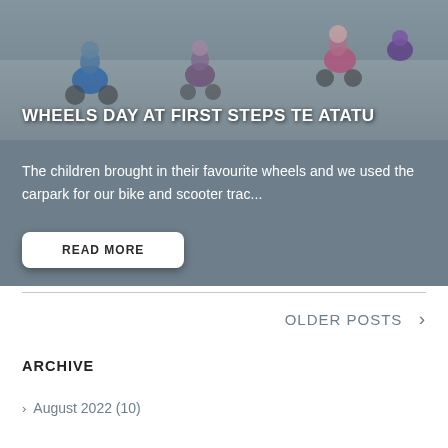[Figure (photo): Children riding bikes and scooters in a carpark, viewed from above]
WHEELS DAY AT FIRST STEPS TE ATATU
The children brought in their favourite wheels and we used the carpark for our bike and scooter trac...
READ MORE
OLDER POSTS >
ARCHIVE
> August 2022 (10)